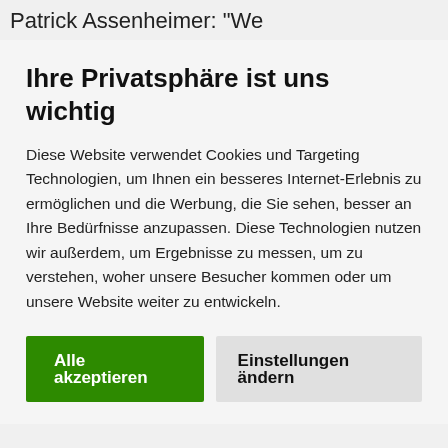Patrick Assenheimer: "We
Ihre Privatsphäre ist uns wichtig
Diese Website verwendet Cookies und Targeting Technologien, um Ihnen ein besseres Internet-Erlebnis zu ermöglichen und die Werbung, die Sie sehen, besser an Ihre Bedürfnisse anzupassen. Diese Technologien nutzen wir außerdem, um Ergebnisse zu messen, um zu verstehen, woher unsere Besucher kommen oder um unsere Website weiter zu entwickeln.
Alle akzeptieren
Einstellungen ändern